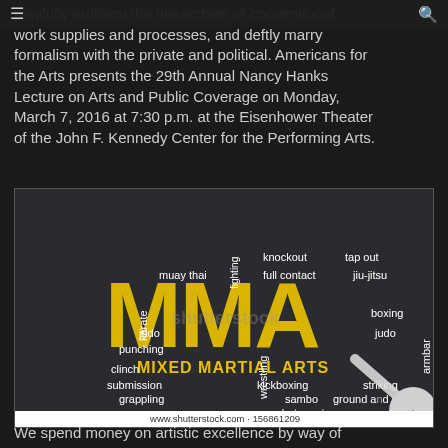playfully problem the hierarchies of conventional work supplies and processes, and deftly marry formalism with the private and political. Americans for the Arts presents the 29th Annual Nancy Hanks Lecture on Arts and Public Coverage on Monday, March 7, 2016 at 7:30 p.m. at the Eisenhower Theater of the John F. Kennedy Center for the Performing Arts.
[Figure (illustration): MMA word cloud image on dark background featuring the word MMA in large yellow distressed letters, with 'MIXED MARTIAL ARTS' in yellow below, surrounded by white text terms: fighting, knockout, tap out, taekwondo, muay thai, full contact, jiu-jitsu, karate, boxing, judo, punching, judo, clinch, armbar, submission, kickboxing, striking, grappling, wrestling, sambo, ground and pound, combat sport. Shutterstock watermark visible. www.shutterstock.com · 156861209 caption at bottom.]
We spend money on artistic excellence by way of